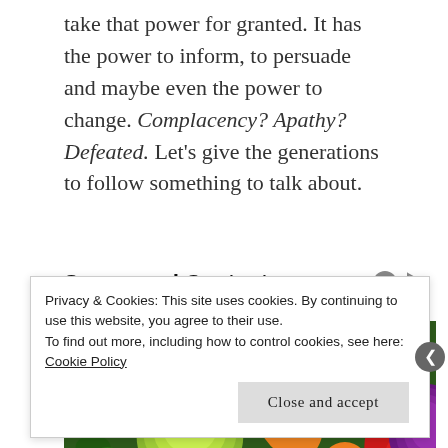take that power for granted. It has the power to inform, to persuade and maybe even the power to change. Complacency? Apathy? Defeated. Let's give the generations to follow something to talk about.
Sponsored Content
[Figure (photo): Colorful array of fresh fruits and vegetables including broccoli, cabbage, yellow peppers, papaya, carrots, strawberries, oranges, red peppers, and red cabbage arranged together.]
Privacy & Cookies: This site uses cookies. By continuing to use this website, you agree to their use. To find out more, including how to control cookies, see here: Cookie Policy